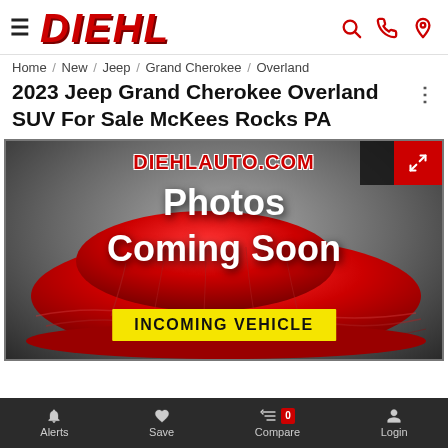DIEHL
Home / New / Jeep / Grand Cherokee / Overland
2023 Jeep Grand Cherokee Overland SUV For Sale McKees Rocks PA
[Figure (photo): Placeholder image showing a red draped car silhouette with text 'Photos Coming Soon' and 'INCOMING VEHICLE' banner, with DIEHLAUTO.COM watermark]
Alerts  Save  Compare 0  Login